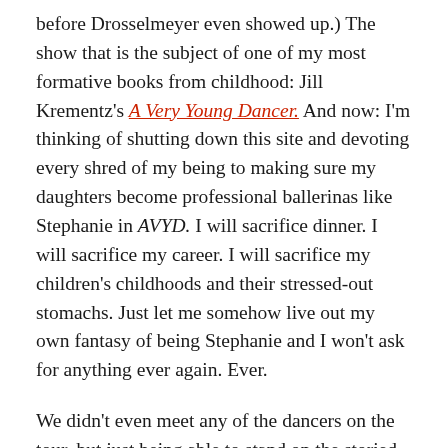before Drosselmeyer even showed up.) The show that is the subject of one of my most formative books from childhood: Jill Krementz's A Very Young Dancer. And now: I'm thinking of shutting down this site and devoting every shred of my being to making sure my daughters become professional ballerinas like Stephanie in AVYD. I will sacrifice dinner. I will sacrifice my career. I will sacrifice my children's childhoods and their stressed-out stomachs. Just let me somehow live out my own fantasy of being Stephanie and I won't ask for anything ever again. Ever.
We didn't even meet any of the dancers on the tour, but just being able to stand on the storied (surprisingly spongy) stage and look out at the grand jewel box that is Lincoln Center's David Koch Theater was enough to make me both giddy...and despondent over the realization that neither I, nor my children, will ever be on that stage dancing with a Cavalier. Is it weird that I'm